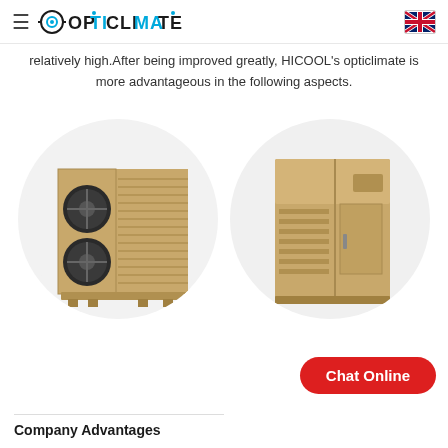OPTICLIMATE
relatively high.After being improved greatly, HICOOL's opticlimate is more advantageous in the following aspects.
[Figure (photo): Two HICOOL opticlimate HVAC units displayed in circular frames side by side. Left unit shows front view with two circular fans/vents. Right unit shows side/rear view. Both units are beige/tan colored industrial air conditioning units.]
Chat Online
Company Advantages